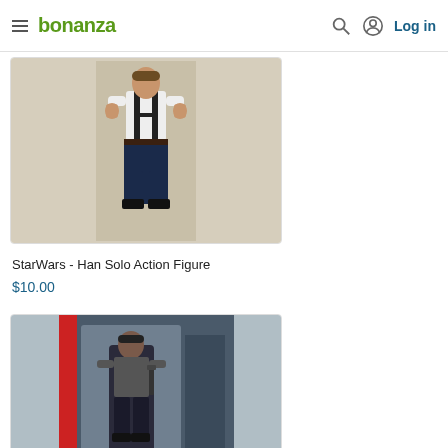bonanza  Log in
[Figure (photo): Han Solo action figure doll showing lower body in dark pants, white shirt with dark vest, standing against a tan background]
StarWars - Han Solo Action Figure
$10.00
[Figure (photo): Action figure in original packaging box showing a male figure in dark clothing holding a weapon, with blue packaging]